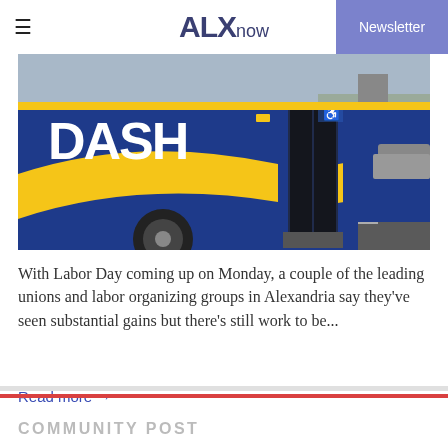ALXnow — Newsletter
[Figure (photo): A blue and yellow DASH bus parked, showing the front-side with doors open and the DASH logo prominently displayed in white lettering.]
With Labor Day coming up on Monday, a couple of the leading unions and labor organizing groups in Alexandria say they've seen substantial gains but there's still work to be...
Read more →
COMMUNITY POST